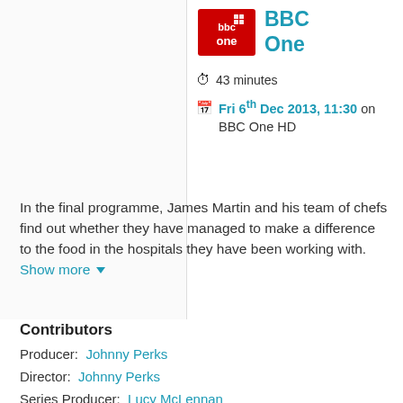[Figure (logo): BBC One logo - red background with white BBC One text]
BBC One
43 minutes
Fri 6th Dec 2013, 11:30 on BBC One HD
In the final programme, James Martin and his team of chefs find out whether they have managed to make a difference to the food in the hospitals they have been working with. Show more ▼
Contributors
Producer:  Johnny Perks
Director:  Johnny Perks
Series Producer:  Lucy McLennan
Presenter:  James Martin